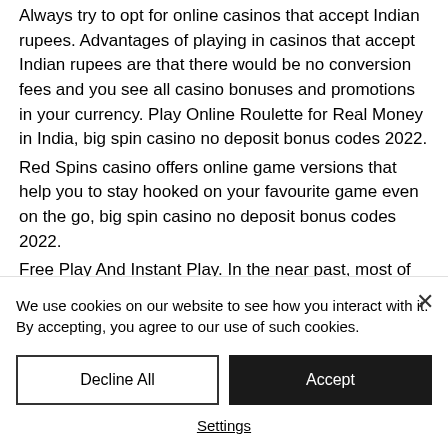Always try to opt for online casinos that accept Indian rupees. Advantages of playing in casinos that accept Indian rupees are that there would be no conversion fees and you see all casino bonuses and promotions in your currency. Play Online Roulette for Real Money in India, big spin casino no deposit bonus codes 2022. Red Spins casino offers online game versions that help you to stay hooked on your favourite game even on the go, big spin casino no deposit bonus codes 2022. Free Play And Instant Play. In the near past, most of the casinos out there required the
We use cookies on our website to see how you interact with it. By accepting, you agree to our use of such cookies.
Decline All
Accept
Settings